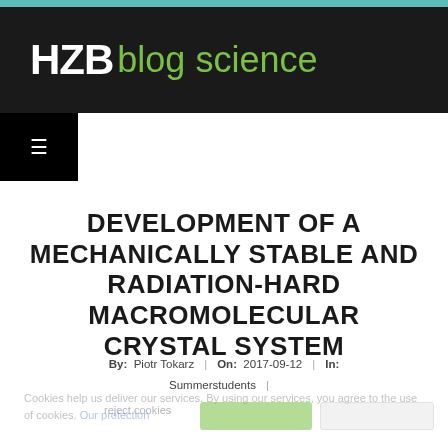HZB blog science
DEVELOPMENT OF A MECHANICALLY STABLE AND RADIATION-HARD MACROMOLECULAR CRYSTAL SYSTEM
By: Piotr Tokarz | On: 2017-09-12 | In: Summerstudents
Cookie notice text (partially obscured)
reject cookies